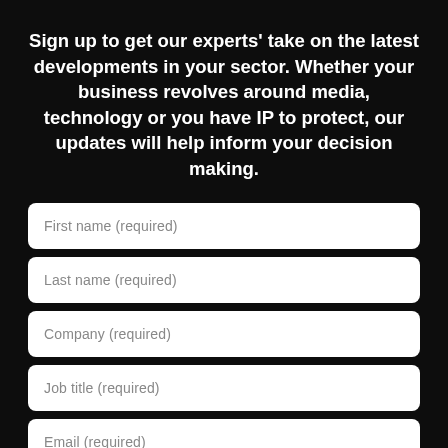Sign up to get our experts' take on the latest developments in your sector. Whether your business revolves around media, technology or you have IP to protect, our updates will help inform your decision making.
First name (required)
Last name (required)
Company (required)
Job title (required)
Email (required)